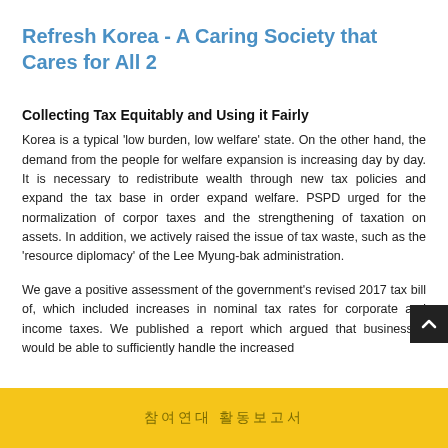Refresh Korea - A Caring Society that Cares for All 2
Collecting Tax Equitably and Using it Fairly
Korea is a typical 'low burden, low welfare' state. On the other hand, the demand from the people for welfare expansion is increasing day by day. It is necessary to redistribute wealth through new tax policies and expand the tax base in order expand welfare. PSPD urged for the normalization of corporate taxes and the strengthening of taxation on assets. In addition, we actively raised the issue of tax waste, such as the 'resource diplomacy' of the Lee Myung-bak administration.
We gave a positive assessment of the government's revised 2017 tax bill of, which included increases in nominal tax rates for corporate and income taxes. We published a report which argued that businesses would be able to sufficiently handle the increased
참여연대 활동보고서